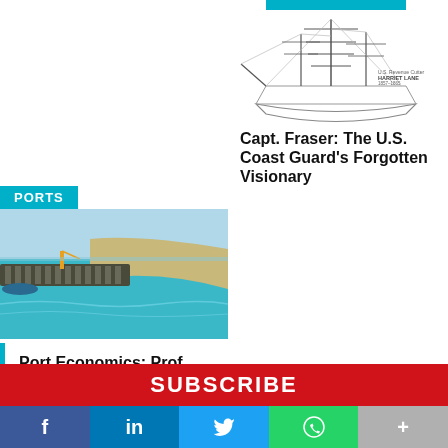[Figure (illustration): Line drawing/sketch of a tall sailing ship (U.S. Revenue Cutter Harriet Lane) with masts and rigging, small label in upper right corner]
Capt. Fraser: The U.S. Coast Guard's Forgotten Visionary
PORTS
[Figure (photo): Aerial photograph of a port/harbor with a long pier/jetty extending into turquoise water, sandy shore visible, construction equipment on pier]
Port Economics: Prof. Michael Dooms on Sustainable Port Development
SUBSCRIBE